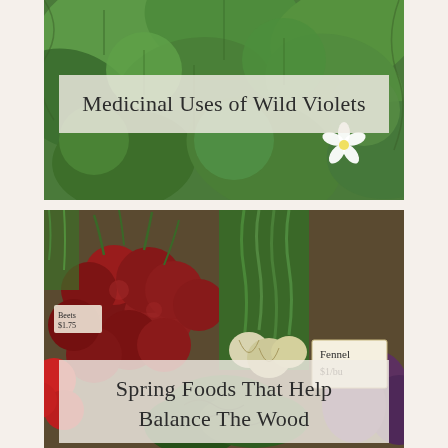[Figure (photo): Close-up photo of green leafy plants (wild violet leaves) with a small white flower visible on the right side. Lush green foliage fills the frame.]
Medicinal Uses of Wild Violets
[Figure (photo): Farmers market photo showing a colorful display of fresh vegetables: a large pile of red/purple beets on the left, bundles of fennel with a price sign reading 'Fennel $1/bu', green leafy herbs, and other market produce including red radishes and purple kale.]
Spring Foods That Help Balance The Wood